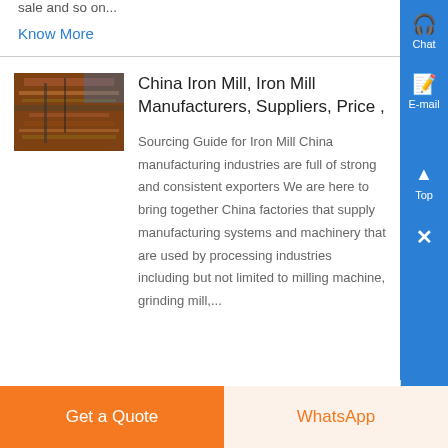sale and so on...
Know More
[Figure (photo): Industrial iron mill machinery photo showing metal processing equipment with rusty/copper tones]
China Iron Mill, Iron Mill Manufacturers, Suppliers, Price ,
Sourcing Guide for Iron Mill China manufacturing industries are full of strong and consistent exporters We are here to bring together China factories that supply manufacturing systems and machinery that are used by processing industries including but not limited to milling machine, grinding mill,...
Chat
E-mail
Top
Get a Quote
WhatsApp